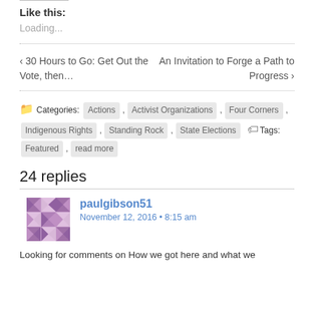Like this:
Loading...
‹ 30 Hours to Go: Get Out the Vote, then…   An Invitation to Forge a Path to Progress ›
Categories: Actions , Activist Organizations , Four Corners , Indigenous Rights , Standing Rock , State Elections   Tags: Featured , read more
24 replies
paulgibson51
November 12, 2016 • 8:15 am
Looking for comments on How we got here and what we